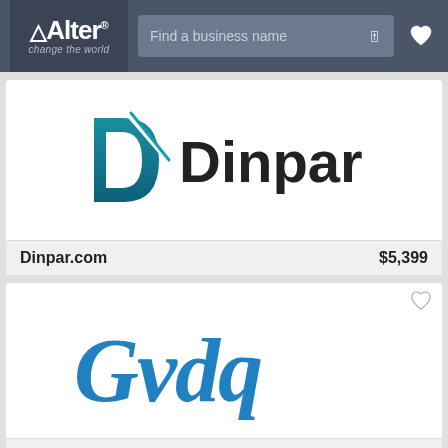Alter® change the world — Find a business name
[Figure (logo): Dinpar logo: teal D with arrow/slash mark, bold black text 'Dinpar']
Dinpar.com   $5,399
[Figure (logo): Gvdq logo: cursive handwritten blue brushstroke text 'Gvdq']
Gvdq.com   $599